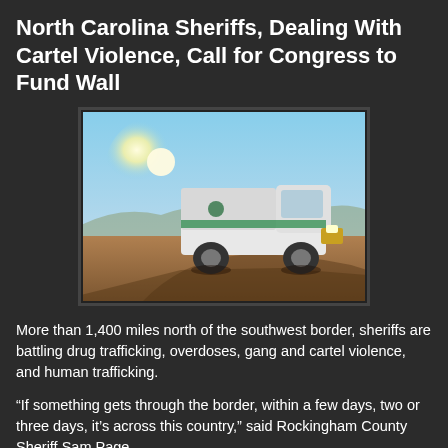North Carolina Sheriffs, Dealing With Cartel Violence, Call for Congress to Fund Wall
[Figure (photo): A white pickup truck (US Border Patrol vehicle) parked on a dirt road in a desert landscape with bright sunlight and blue sky in the background.]
More than 1,400 miles north of the southwest border, sheriffs are battling drug trafficking, overdoses, gang and cartel violence, and human trafficking.
“If something gets through the border, within a few days, two or three days, it’s across this country,” said Rockingham County Sheriff Sam Page.